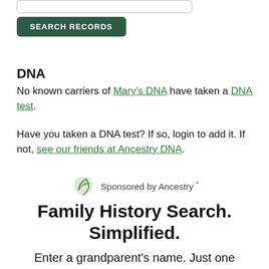[Figure (screenshot): Search input box (text field, partially visible, with rounded border)]
SEARCH RECORDS
DNA
No known carriers of Mary's DNA have taken a DNA test.
Have you taken a DNA test? If so, login to add it. If not, see our friends at Ancestry DNA.
[Figure (logo): Ancestry leaf logo with 'Sponsored by Ancestry *' label]
Family History Search. Simplified.
Enter a grandparent's name. Just one